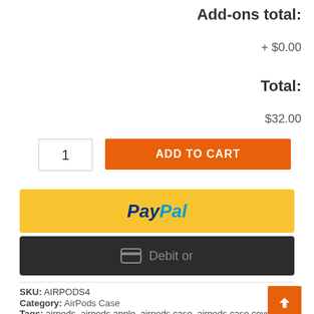Add-ons total:
+ $0.00
Total:
$32.00
1
ADD TO CART
[Figure (other): PayPal payment button with yellow background]
[Figure (other): Debit or credit card payment button with dark background and card icon]
SKU: AIRPODS4
Category: AirPods Case
Tags: airpods, airpods apple, airpods case, airpods case cover,